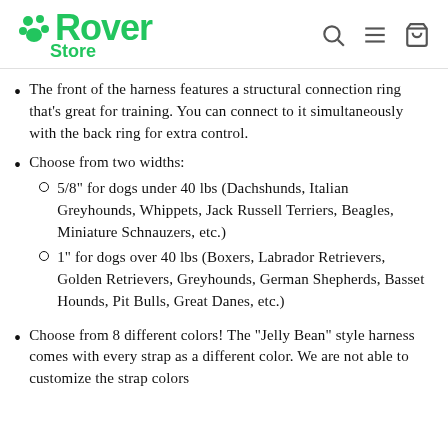Rover Store
The front of the harness features a structural connection ring that's great for training. You can connect to it simultaneously with the back ring for extra control.
Choose from two widths:
5/8" for dogs under 40 lbs (Dachshunds, Italian Greyhounds, Whippets, Jack Russell Terriers, Beagles, Miniature Schnauzers, etc.)
1" for dogs over 40 lbs (Boxers, Labrador Retrievers, Golden Retrievers, Greyhounds, German Shepherds, Basset Hounds, Pit Bulls, Great Danes, etc.)
Choose from 8 different colors! The "Jelly Bean" style harness comes with every strap as a different color. We are not able to customize the strap colors